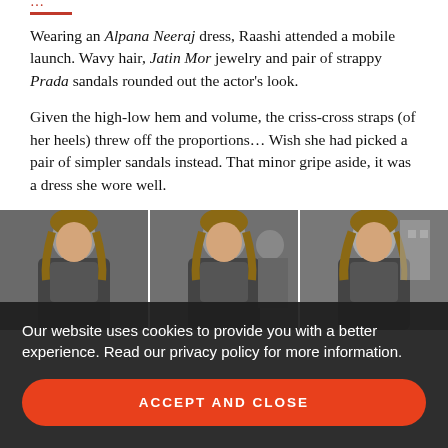…[cropped red text at top]…
Wearing an Alpana Neeraj dress, Raashi attended a mobile launch. Wavy hair, Jatin Mor jewelry and pair of strappy Prada sandals rounded out the actor's look.
Given the high-low hem and volume, the criss-cross straps (of her heels) threw off the proportions… Wish she had picked a pair of simpler sandals instead. That minor gripe aside, it was a dress she wore well.
[Figure (photo): Three side-by-side photos of a woman in a dark outfit at a public event]
Our website uses cookies to provide you with a better experience. Read our privacy policy for more information.
ACCEPT AND CLOSE